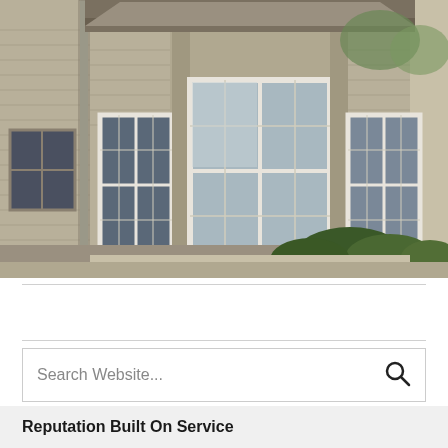[Figure (photo): Exterior photo of a house showing a bay window with white window frames, light tan/beige vinyl siding, a decorative roofline over the bay window area, a downspout on the left, and green shrubs at the bottom right.]
Search Website...
Reputation Built On Service